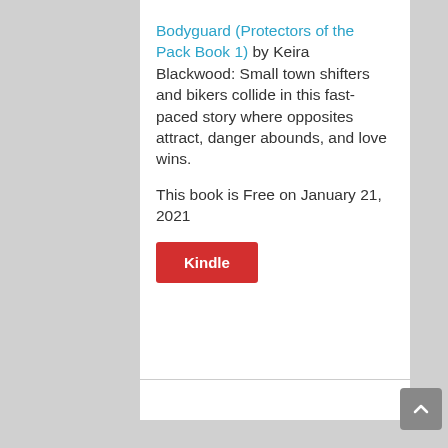Bodyguard (Protectors of the Pack Book 1) by Keira Blackwood: Small town shifters and bikers collide in this fast-paced story where opposites attract, danger abounds, and love wins.

This book is Free on January 21, 2021